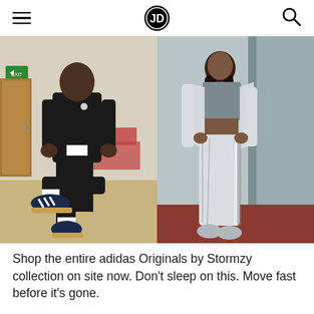JD Sports navigation header with hamburger menu and search icon
[Figure (photo): Two fashion photos side by side: left shows a man in a black adidas tracksuit and adidas sneakers seated in a school gym setting; right shows a woman in a grey crop top and silver/reflective adidas joggers and jacket leaning against a wall.]
Shop the entire adidas Originals by Stormzy collection on site now. Don't sleep on this. Move fast before it's gone.